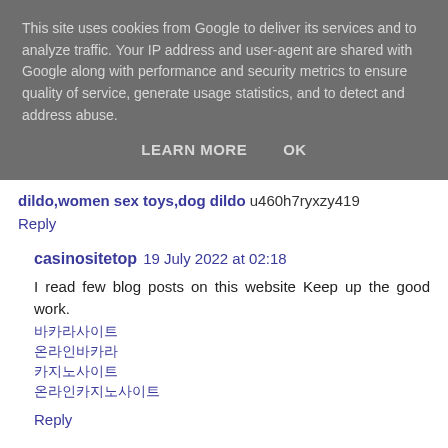This site uses cookies from Google to deliver its services and to analyze traffic. Your IP address and user-agent are shared with Google along with performance and security metrics to ensure quality of service, generate usage statistics, and to detect and address abuse.
LEARN MORE   OK
dildo,women sex toys,dog dildo u460h7ryxzy419
Reply
casinositetop 19 July 2022 at 02:18
I read few blog posts on this website Keep up the good work.
바카라사이트
온라인바카라
카지노사이트
온라인카지노사이트
Reply